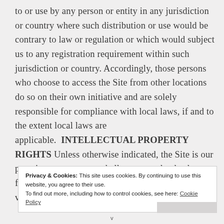to or use by any person or entity in any jurisdiction or country where such distribution or use would be contrary to law or regulation or which would subject us to any registration requirement within such jurisdiction or country. Accordingly, those persons who choose to access the Site from other locations do so on their own initiative and are solely responsible for compliance with local laws, if and to the extent local laws are applicable.  INTELLECTUAL PROPERTY RIGHTS Unless otherwise indicated, the Site is our proprietary property and all source code, databases, functionality, software, website designs, audio, video, text, photographs, and graphics on the Site
Privacy & Cookies: This site uses cookies. By continuing to use this website, you agree to their use.
To find out more, including how to control cookies, see here: Cookie Policy
v